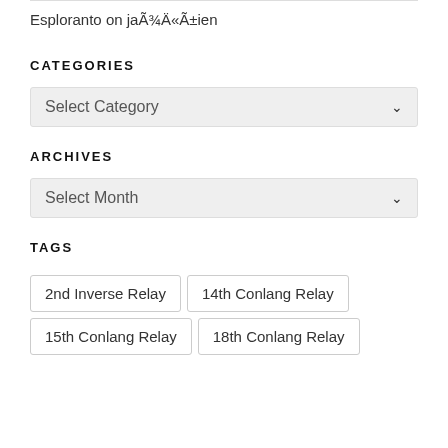Esploranto on jaÃ¾Ä«Ã±ien
CATEGORIES
[Figure (screenshot): Dropdown select box with label 'Select Category' and a chevron icon]
ARCHIVES
[Figure (screenshot): Dropdown select box with label 'Select Month' and a chevron icon]
TAGS
2nd Inverse Relay
14th Conlang Relay
15th Conlang Relay
18th Conlang Relay